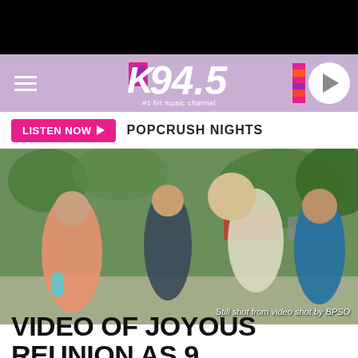K94.5 #1 Hit Music Channel
LISTEN NOW ▶  POPCRUSH NIGHTS
[Figure (photo): A woman in a pink shirt holding a water bottle stands next to a police officer and a man in a blue Las Vegas Nevada shirt, while another woman in dark clothes embraces a child outdoors. Still shot from video shot by BPSO.]
VIDEO OF JOYOUS REUNION AS 9